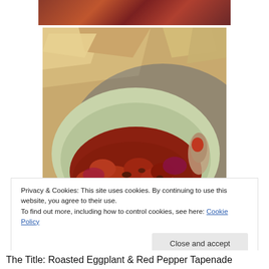[Figure (photo): Partial top photo showing roasted eggplant and red pepper dish, cropped at the top of the page]
[Figure (photo): Bowl of roasted eggplant and red pepper tapenade with pita chips visible in the background, served in a light green/cream bowl on a blue-rimmed plate]
Privacy & Cookies: This site uses cookies. By continuing to use this website, you agree to their use.
To find out more, including how to control cookies, see here: Cookie Policy
Close and accept
The Title: Roasted Eggplant & Red Pepper Tapenade